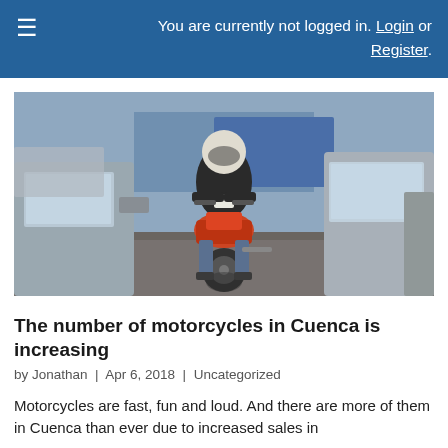You are currently not logged in. Login or Register.
[Figure (photo): A motorcyclist wearing a helmet riding a red motorcycle between lanes of stopped cars in urban traffic.]
The number of motorcycles in Cuenca is increasing
by Jonathan | Apr 6, 2018 | Uncategorized
Motorcycles are fast, fun and loud. And there are more of them in Cuenca than ever due to increased sales in